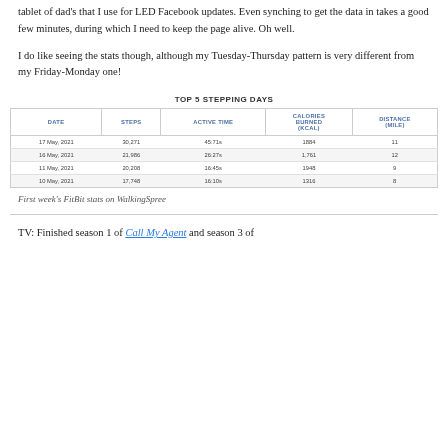tablet of dad's that I use for LED Facebook updates. Even synching to get the data in takes a good few minutes, during which I need to keep the page alive. Oh well.
I do like seeing the stats though, although my Tuesday-Thursday pattern is very different from my Friday-Monday one!
| DATE | STEPS | ACTIVE TIME | CALORIES BURNED (KCAL) | DISTANCE (MILE) |
| --- | --- | --- | --- | --- |
| 17 May, 2021 | 30,271 | 45:71s | 1884 | 11 |
| 16 May, 2021 | 21,986 | 26:27s | 1,761 | 12 |
| 11 May, 2021 | 20,208 | 16:45s | 1948 | 9 |
| 10 May, 2021 | 17,748 | 16:10s | 1316 | 8 |
First week's FitBit stats on WalkingSpree
TV: Finished season 1 of Call My Agent and season 3 of